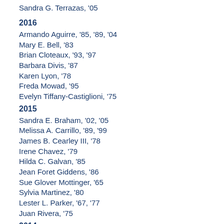Sandra G. Terrazas, '05
2016
Armando Aguirre, '85, '89, '04
Mary E. Bell, '83
Brian Cloteaux, '93, '97
Barbara Divis, '87
Karen Lyon, '78
Freda Mowad, '95
Evelyn Tiffany-Castiglioni, '75
2015
Sandra E. Braham,  '02,  '05
Melissa A. Carrillo,  '89,  '99
James B. Cearley III,  '78
Irene Chavez,  '79
Hilda C. Galvan,  '85
Jean Foret Giddens,  '86
Sue Glover Mottinger,  '65
Sylvia Martinez,  '80
Lester L. Parker,  '67,  '77
Juan Rivera,  '75
2014
UTEP's 100th Anniversary: All Past Gold Nugget Alumni